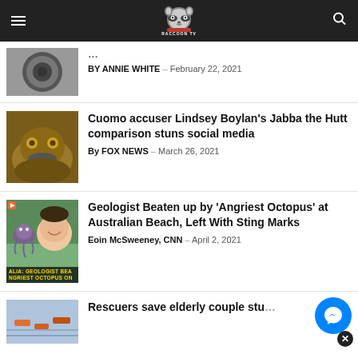Raccoon TV
BY ANNIE WHITE – February 22, 2021
Cuomo accuser Lindsey Boylan's Jabba the Hutt comparison stuns social media
By FOX NEWS – March 26, 2021
Geologist Beaten up by 'Angriest Octopus' at Australian Beach, Left With Sting Marks
Eoin McSweeney, CNN – April 2, 2021
Rescuers save elderly couple stu…